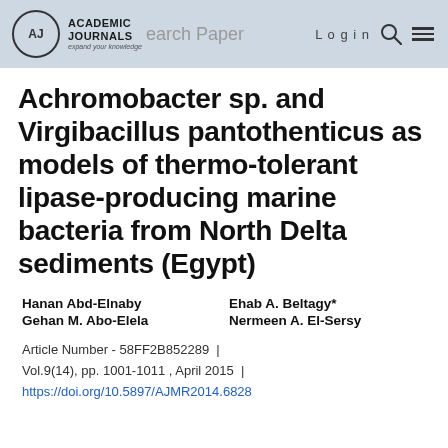Academic Journals | Research Paper | Login
Achromobacter sp. and Virgibacillus pantothenticus as models of thermo-tolerant lipase-producing marine bacteria from North Delta sediments (Egypt)
Hanan Abd-Elnaby   Ehab A. Beltagy*
Gehan M. Abo-Elela   Nermeen A. El-Sersy
Article Number - 58FF2B852289  |
Vol.9(14), pp. 1001-1011 , April 2015  |
https://doi.org/10.5897/AJMR2014.6828